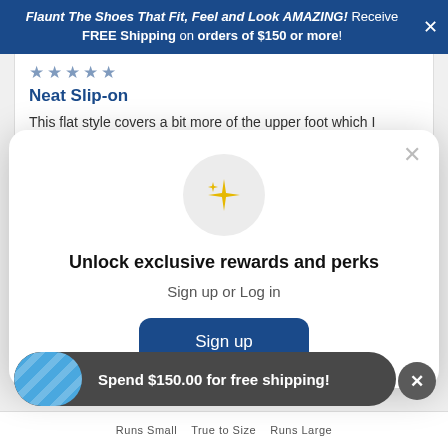Flaunt The Shoes That Fit, Feel and Look AMAZING! Receive FREE Shipping on orders of $150 or more!
Neat Slip-on
This flat style covers a bit more of the upper foot which I wanted. The "low cut" ballet shoes just don't look good on my
[Figure (screenshot): Modal popup with sparkle icon, text 'Unlock exclusive rewards and perks', 'Sign up or Log in', and a 'Sign up' button]
Spend $150.00 for free shipping!
Runs Small  True to Size  Runs Large